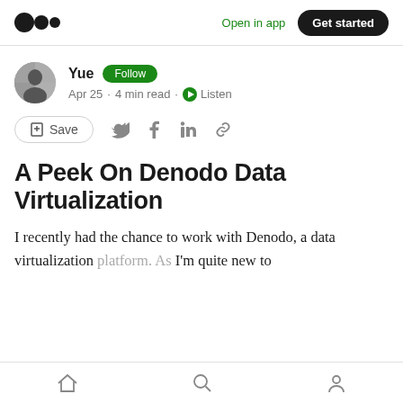Open in app · Get started
Yue · Follow · Apr 25 · 4 min read · Listen
A Peek On Denodo Data Virtualization
I recently had the chance to work with Denodo, a data virtualization platform. As I'm quite new to
Home · Search · Profile